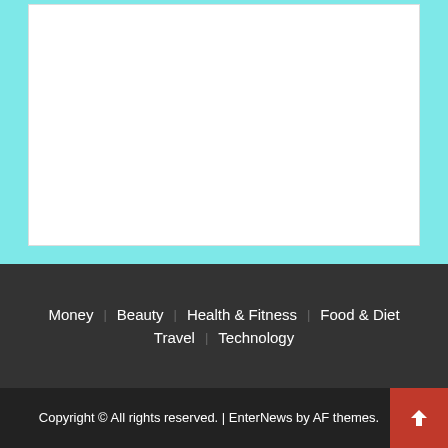[Figure (other): White rectangle on cyan background — placeholder image or ad content area]
Money | Beauty | Health & Fitness | Food & Diet | Travel | Technology
Copyright © All rights reserved. | EnterNews by AF themes.
[Figure (other): Social share bar with Facebook, Twitter, Tumblr, Reddit, Pinterest, Save, Share, and cyan buttons]